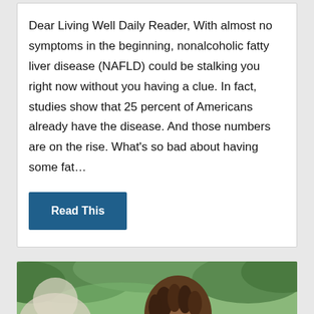Dear Living Well Daily Reader, With almost no symptoms in the beginning, nonalcoholic fatty liver disease (NAFLD) could be stalking you right now without you having a clue. In fact, studies show that 25 percent of Americans already have the disease. And those numbers are on the rise. What's so bad about having some fat…
Read This
[Figure (photo): Partial photo of a person with braided hair outdoors with greenery in the background, cropped showing the top of their head and face, with another figure partially visible on the left.]